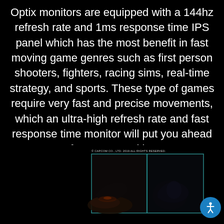Optix monitors are equipped with a 144hz refresh rate and 1ms response time IPS panel which has the most benefit in fast moving game genres such as first person shooters, fighters, racing sims, real-time strategy, and sports. These type of games require very fast and precise movements, which an ultra-high refresh rate and fast response time monitor will put you ahead of your competition.
[Figure (screenshot): A dark gaming screenshot showing a scene split by a vertical teal/cyan line, comparing visuals. Small copyright text reads '© CAPCOM CO., LTD. 2019 ALL RIGHTS RESERVED.' at the top left of the image area.]